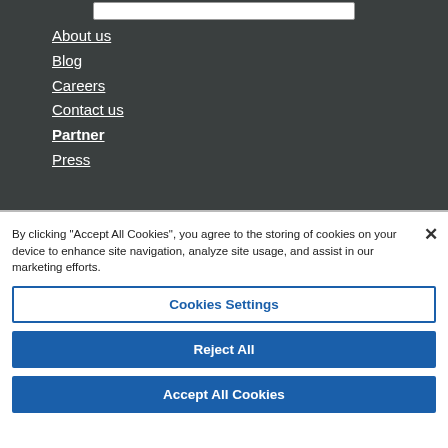About us
Blog
Careers
Contact us
Partner
Press
By clicking “Accept All Cookies”, you agree to the storing of cookies on your device to enhance site navigation, analyze site usage, and assist in our marketing efforts.
Cookies Settings
Reject All
Accept All Cookies